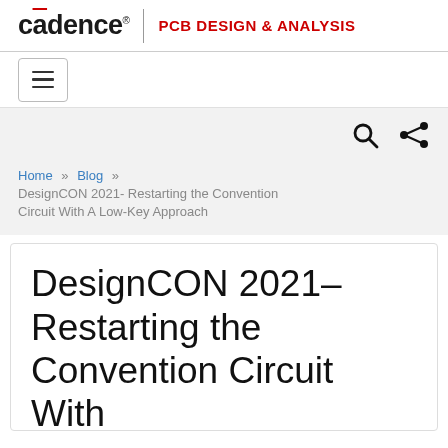cadence | PCB DESIGN & ANALYSIS
[Figure (other): Hamburger menu button icon (three horizontal lines) inside a bordered box]
[Figure (other): Search icon (magnifying glass) and share icon on a light grey background]
Home » Blog » DesignCON 2021- Restarting the Convention Circuit With A Low-Key Approach
DesignCON 2021- Restarting the Convention Circuit With A Low-Key Approach